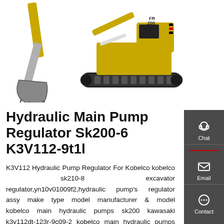[Figure (photo): Product images showing excavator bucket arm on the left and a yellow/black kobelco SK200 excavator on the right against white background]
Hydraulic Main Pump Regulator Sk200-6 K3V112-9t1l
K3V112 Hydraulic Pump Regulator For Kobelco kobelco sk210-8 excavator regulator,yn10v01009f2,hydraulic pump's regulator assy make type model manufacturer & model kobelco main hydraulic pumps sk200 kawasaki k3v112dt-123r-9c09-2 kobelco main hydraulic pumps only, has no regulators sk220 kawasaki k3v112dt-123r-9c29 kobelco hydraulic swing